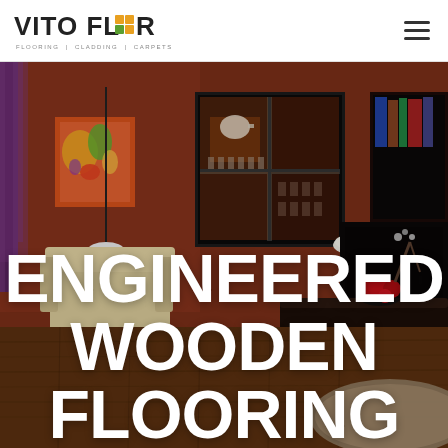[Figure (logo): Vito Floor logo with tagline FLOORING | CLADDING | CARPETS. The word FLOOR has a stylized O made of colored squares (orange and green). Hamburger menu icon on the right.]
[Figure (photo): Interior living room photo with dark red/maroon walls, wooden flooring, a display cabinet with glassware lit in warm orange, a floor lamp, a white armchair, a dark dining table with a bowl of red apples, and a beige rug. Large white bold text overlaid reads ENGINEERED WOODEN FLOORING.]
ENGINEERED WOODEN FLOORING